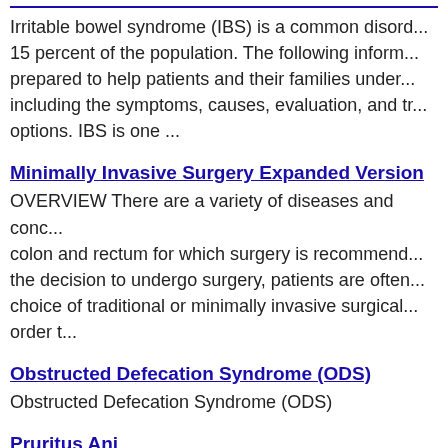Irritable bowel syndrome (IBS) is a common disord... 15 percent of the population. The following inform... prepared to help patients and their families under... including the symptoms, causes, evaluation, and tr... options. IBS is one ...
Minimally Invasive Surgery Expanded Version
OVERVIEW There are a variety of diseases and conc... colon and rectum for which surgery is recommend... the decision to undergo surgery, patients are often... choice of traditional or minimally invasive surgical... order t...
Obstructed Defecation Syndrome (ODS)
Obstructed Defecation Syndrome (ODS)
Pruritus Ani